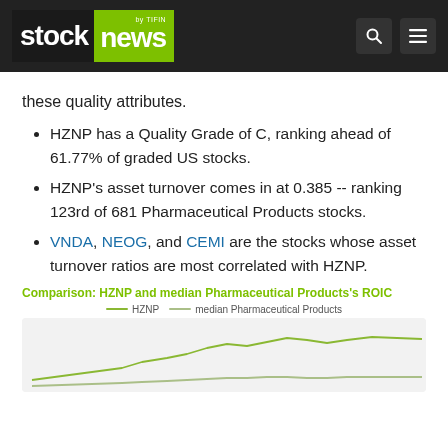stock news by TIFIN
these quality attributes.
HZNP has a Quality Grade of C, ranking ahead of 61.77% of graded US stocks.
HZNP's asset turnover comes in at 0.385 -- ranking 123rd of 681 Pharmaceutical Products stocks.
VNDA, NEOG, and CEMI are the stocks whose asset turnover ratios are most correlated with HZNP.
Comparison: HZNP and median Pharmaceutical Products’s ROIC
[Figure (line-chart): Line chart comparing HZNP and median Pharmaceutical Products ROIC over time. Two lines visible at bottom of chart area.]